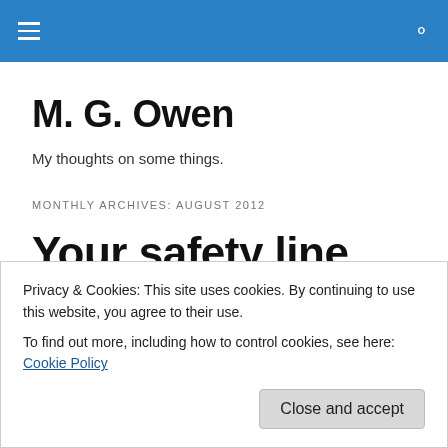M. G. Owen — navigation bar
M. G. Owen
My thoughts on some things.
MONTHLY ARCHIVES: AUGUST 2012
Your safety line
Let's say you get a job washing windows on skyscrapers…
Privacy & Cookies: This site uses cookies. By continuing to use this website, you agree to their use.
To find out more, including how to control cookies, see here: Cookie Policy
Close and accept